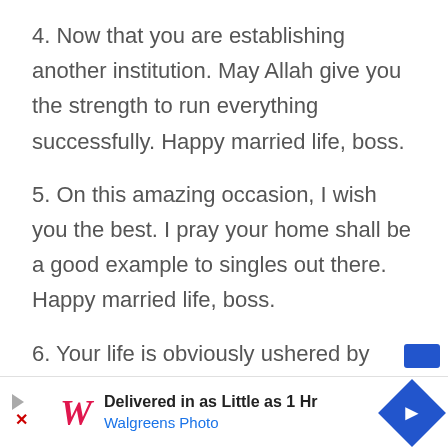4. Now that you are establishing another institution. May Allah give you the strength to run everything successfully. Happy married life, boss.
5. On this amazing occasion, I wish you the best. I pray your home shall be a good example to singles out there. Happy married life, boss.
6. Your life is obviously ushered by Allah. He has ushered you up till this moment. I pray he'll continue to guide you in marriage. Happy
[Figure (other): Walgreens Photo advertisement banner: 'Delivered in as Little as 1 Hr' with Walgreens cursive logo, play button, close button, and blue diamond arrow icon]